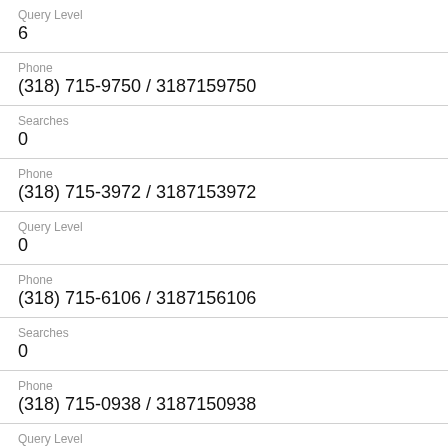Query Level
6
Phone
(318) 715-9750 / 3187159750
Searches
0
Phone
(318) 715-3972 / 3187153972
Query Level
0
Phone
(318) 715-6106 / 3187156106
Searches
0
Phone
(318) 715-0938 / 3187150938
Query Level
6